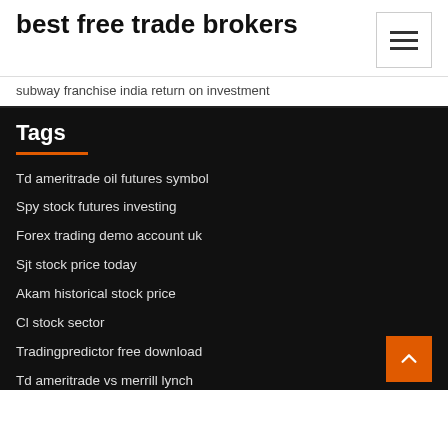best free trade brokers
subway franchise india return on investment
Tags
Td ameritrade oil futures symbol
Spy stock futures investing
Forex trading demo account uk
Sjt stock price today
Akam historical stock price
Cl stock sector
Tradingpredictor free download
Td ameritrade vs merrill lynch